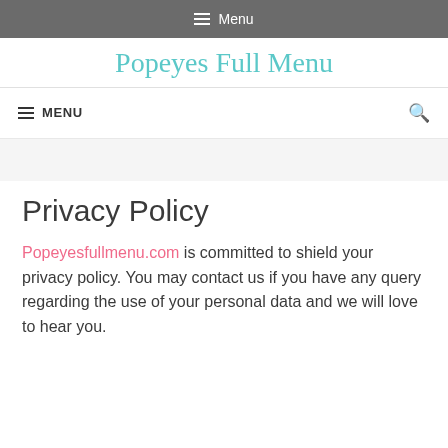☰ Menu
Popeyes Full Menu
☰ MENU 🔍
Privacy Policy
Popeyesfullmenu.com is committed to shield your privacy policy. You may contact us if you have any query regarding the use of your personal data and we will love to hear you.